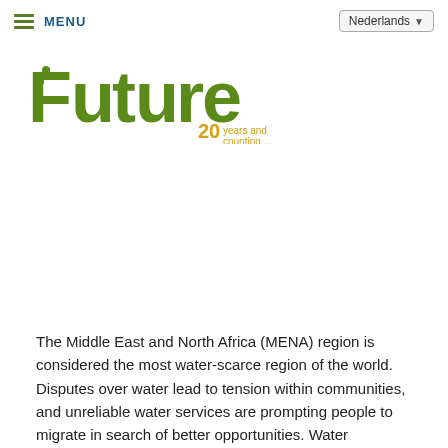MENU | Nederlands
[Figure (logo): FutureWater logo with green 'Future' and dark teal 'Water' text, with '20 years and counting...' tagline in gold]
The Middle East and North Africa (MENA) region is considered the most water-scarce region of the world. Disputes over water lead to tension within communities, and unreliable water services are prompting people to migrate in search of better opportunities. Water investments absorb large amounts of public funds, which could often be used more efficiently elsewhere. As the region's population continues to grow, per